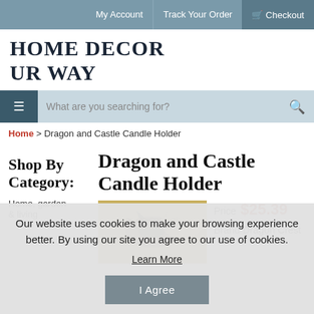My Account | Track Your Order | Checkout
HOME DECOR UR WAY
What are you searching for?
Home > Dragon and Castle Candle Holder
Shop By Category:
Dragon and Castle Candle Holder
Price $25.39
Brand Dragon Crest
[Figure (photo): Dragon and castle figurine candle holder product image]
Home, garden & living
Our website uses cookies to make your browsing experience better. By using our site you agree to our use of cookies.
Learn More
I Agree